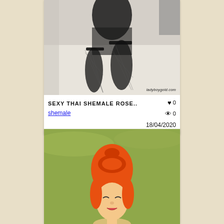[Figure (photo): Photo of a person wearing black fishnet stockings and a sheer black outfit, kneeling on a bed. Watermark: ladyboygold.com]
SEXY THAI SHEMALE ROSE..
♥ 0
👁 0
18/04/2020
shemale
[Figure (illustration): Cartoon illustration of a red-haired female character (Wilma Flintstone style) with orange hair bun, drawn in animated style on a green background.]